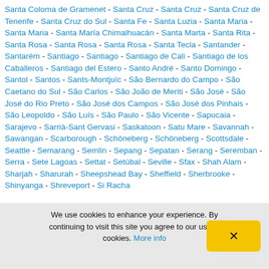Santa Coloma de Gramenet - Santa Cruz - Santa Cruz - Santa Cruz de Tenerife - Santa Cruz do Sul - Santa Fe - Santa Luzia - Santa Maria - Santa Maria - Santa María Chimalhuacán - Santa Marta - Santa Rita - Santa Rosa - Santa Rosa - Santa Rosa - Santa Tecla - Santander - Santarém - Santiago - Santiago - Santiago de Cali - Santiago de los Caballeros - Santiago del Estero - Santo André - Santo Domingo - Santol - Santos - Sants-Montjuïc - São Bernardo do Campo - São Caetano do Sul - São Carlos - São João de Meriti - São José - São José do Rio Preto - São José dos Campos - São José dos Pinhais - São Leopoldo - São Luís - São Paulo - São Vicente - Sapucaia - Sarajevo - Sarrià-Sant Gervasi - Saskatoon - Satu Mare - Savannah - Sawangan - Scarborough - Schöneberg - Schöneberg - Scottsdale - Seattle - Semarang - Semlin - Sepang - Sepatan - Serang - Seremban - Serra - Sete Lagoas - Settat - Setúbal - Seville - Sfax - Shah Alam - Sharjah - Sharurah - Sheepshead Bay - Sheffield - Sherbrooke - Shinyanga - Shreveport - Si Racha
We use cookies to enhance your experience. By continuing to visit this site you agree to our use of cookies. More info